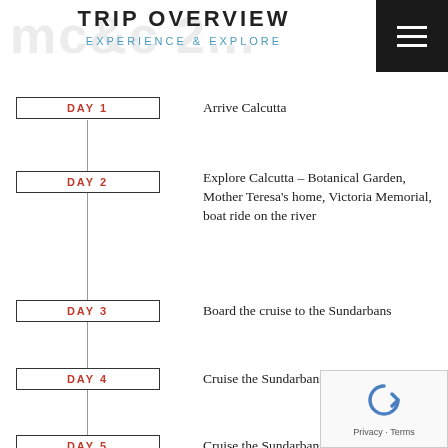TRIP OVERVIEW
EXPERIENCE & EXPLORE
DAY 1 – Arrive Calcutta
DAY 2 – Explore Calcutta – Botanical Garden, Mother Teresa's home, Victoria Memorial, boat ride on the river
DAY 3 – Board the cruise to the Sundarbans
DAY 4 – Cruise the Sundarbans
DAY 5 – Cruise the Sundarbans
DAY 6 – Disembark and drive to Ullon
DAY 7 – (partially visible)